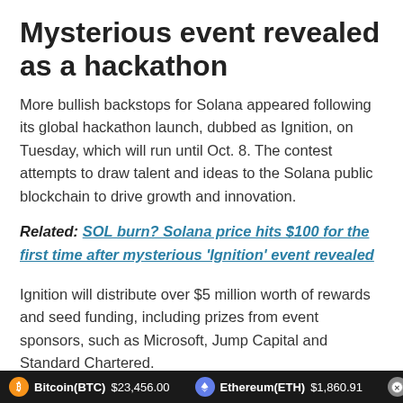Mysterious event revealed as a hackathon
More bullish backstops for Solana appeared following its global hackathon launch, dubbed as Ignition, on Tuesday, which will run until Oct. 8. The contest attempts to draw talent and ideas to the Solana public blockchain to drive growth and innovation.
Related: SOL burn? Solana price hits $100 for the first time after mysterious 'Ignition' event revealed
Ignition will distribute over $5 million worth of rewards and seed funding, including prizes from event sponsors, such as Microsoft, Jump Capital and Standard Chartered.
Bitcoin(BTC) $23,456.00   Ethereum(ETH) $1,860.91   XRP